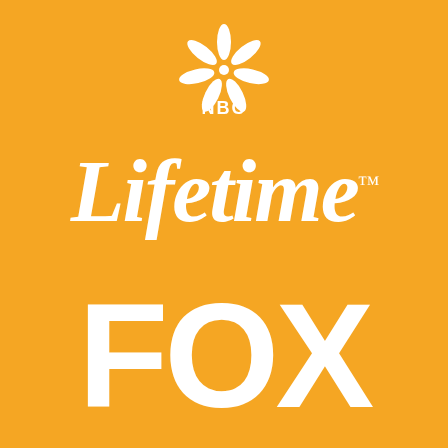[Figure (logo): NBC peacock logo with NBC text below, white on orange background]
[Figure (logo): Lifetime logo in italic serif white text with TM mark, on orange background]
[Figure (logo): FOX logo in large bold white sans-serif text, on orange background]